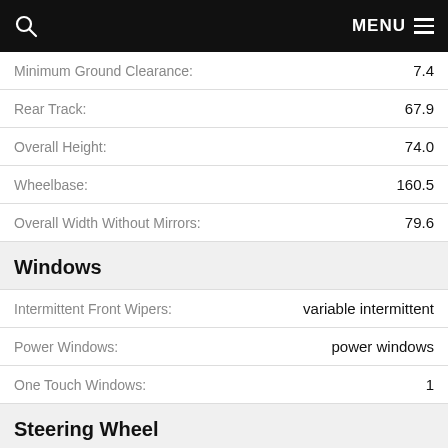MENU
| Spec | Value |
| --- | --- |
| Minimum Ground Clearance: | 7.4 |
| Rear Track: | 67.9 |
| Overall Height: | 74.0 |
| Wheelbase: | 160.5 |
| Overall Width Without Mirrors: | 79.6 |
Windows
| Spec | Value |
| --- | --- |
| Intermittent Front Wipers: | variable intermittent |
| Power Windows: | power windows |
| One Touch Windows: | 1 |
Steering Wheel
| Spec | Value |
| --- | --- |
| Steering Wheel Adjustments: | tilt-adjustable |
Storage